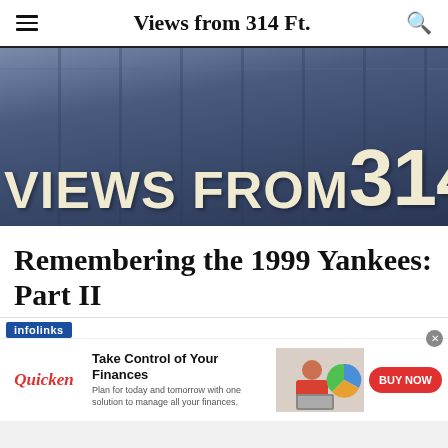Views from 314 Ft.
[Figure (photo): Hero image showing blue sign panels with large text reading VIEWS FROM 314 FT. in cream/off-white letters on blue background]
Remembering the 1999 Yankees: Part II
[Figure (other): Infolinks advertisement for Quicken: Take Control of Your Finances. Plan for today and tomorrow with one solution to manage all your finances. BUY NOW button. Shows a woman working on a laptop with a financial chart graphic.]